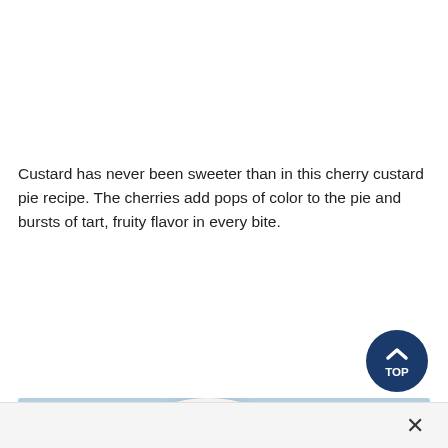Custard has never been sweeter than in this cherry custard pie recipe. The cherries add pops of color to the pie and bursts of tart, fruity flavor in every bite.
[Figure (other): Dark blue circular 'TOP' navigation button with upward chevron arrow icon]
[Figure (photo): Partial photo of a cherry custard pie in a pink/coral pie dish with a white bowl in the background, on a light blue surface]